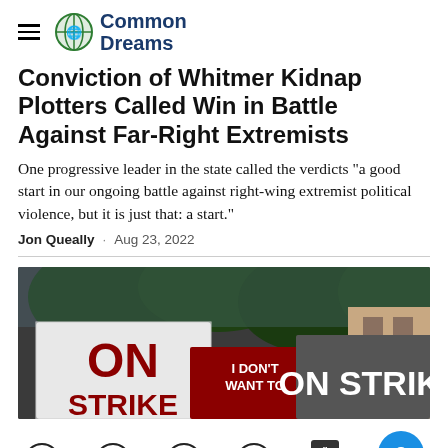Common Dreams
Conviction of Whitmer Kidnap Plotters Called Win in Battle Against Far-Right Extremists
One progressive leader in the state called the verdicts "a good start in our ongoing battle against right-wing extremist political violence, but it is just that: a start."
Jon Queally · Aug 23, 2022
[Figure (photo): Protest photo showing people holding signs reading 'ON STRIKE' and 'I DON'T WANT TO' against a backdrop of trees and buildings.]